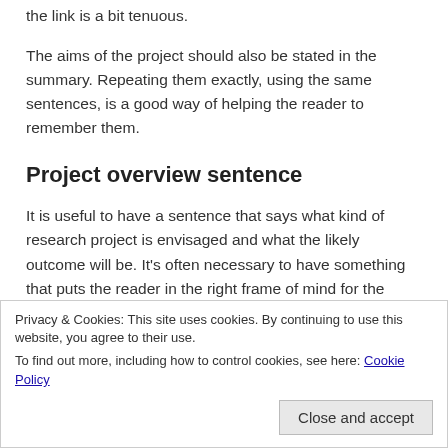the link is a bit tenuous.
The aims of the project should also be stated in the summary. Repeating them exactly, using the same sentences, is a good way of helping the reader to remember them.
Project overview sentence
It is useful to have a sentence that says what kind of research project is envisaged and what the likely outcome will be. It’s often necessary to have something that puts the reader in the right frame of mind for the subproject overview
Privacy & Cookies: This site uses cookies. By continuing to use this website, you agree to their use.
To find out more, including how to control cookies, see here: Cookie Policy